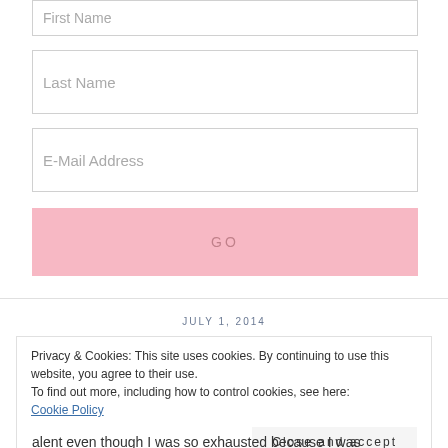First Name
Last Name
E-Mail Address
GO
JULY 1, 2014
Privacy & Cookies: This site uses cookies. By continuing to use this website, you agree to their use.
To find out more, including how to control cookies, see here:
Cookie Policy
Close and accept
alent even though I was so exhausted because I was